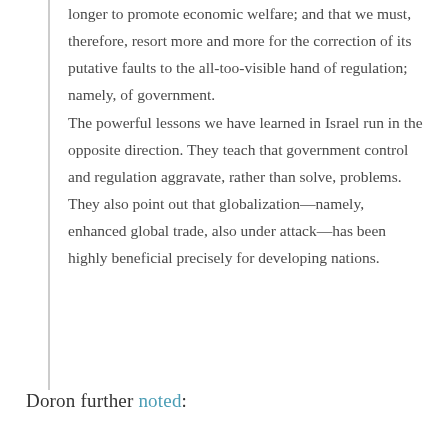longer to promote economic welfare; and that we must, therefore, resort more and more for the correction of its putative faults to the all-too-visible hand of regulation; namely, of government.
The powerful lessons we have learned in Israel run in the opposite direction. They teach that government control and regulation aggravate, rather than solve, problems.
They also point out that globalization—namely, enhanced global trade, also under attack—has been highly beneficial precisely for developing nations.
Doron further noted: